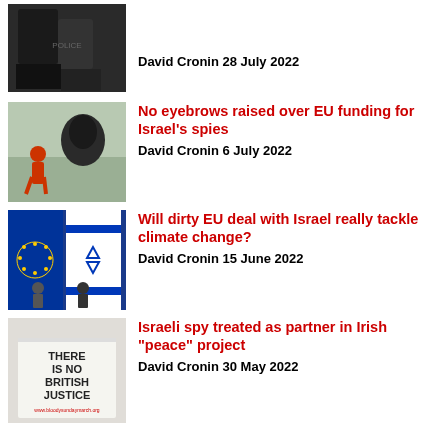[Figure (photo): Police officers in tactical gear]
David Cronin 28 July 2022
[Figure (photo): Person walking past a large wall mural]
No eyebrows raised over EU funding for Israel's spies
David Cronin 6 July 2022
[Figure (photo): EU and Israeli flags at official meeting]
Will dirty EU deal with Israel really tackle climate change?
David Cronin 15 June 2022
[Figure (photo): Sign reading THERE IS NO BRITISH JUSTICE]
Israeli spy treated as partner in Irish “peace” project
David Cronin 30 May 2022